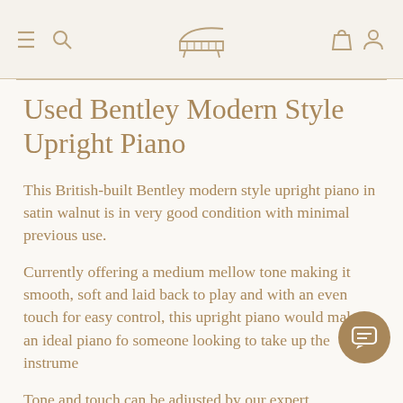[Navigation bar with menu, piano logo, bag and user icons]
Used Bentley Modern Style Upright Piano
This British-built Bentley modern style upright piano in satin walnut is in very good condition with minimal previous use.
Currently offering a medium mellow tone making it smooth, soft and laid back to play and with an even touch for easy control, this upright piano would make an ideal piano for someone looking to take up the instrume...
Tone and touch can be adjusted by our expert